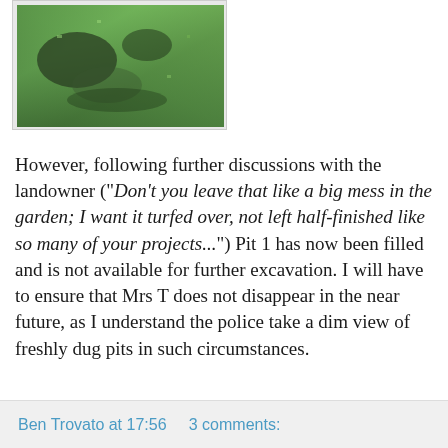[Figure (photo): Photograph of a grassy garden area, green lawn with some dark patches, appears to show an excavated or disturbed area]
However, following further discussions with the landowner ("Don't you leave that like a big mess in the garden; I want it turfed over, not left half-finished like so many of your projects...") Pit 1 has now been filled and is not available for further excavation. I will have to ensure that Mrs T does not disappear in the near future, as I understand the police take a dim view of freshly dug pits in such circumstances.
Ben Trovato at 17:56     3 comments: